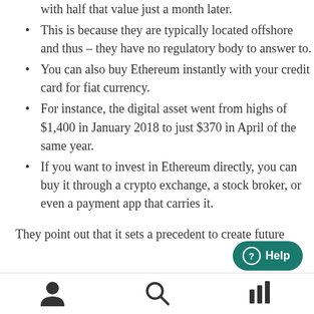If you had bought it at its high, you'd be sitting with half that value just a month later.
This is because they are typically located offshore and thus – they have no regulatory body to answer to.
You can also buy Ethereum instantly with your credit card for fiat currency.
For instance, the digital asset went from highs of $1,400 in January 2018 to just $370 in April of the same year.
If you want to invest in Ethereum directly, you can buy it through a crypto exchange, a stock broker, or even a payment app that carries it.
They point out that it sets a precedent to create future